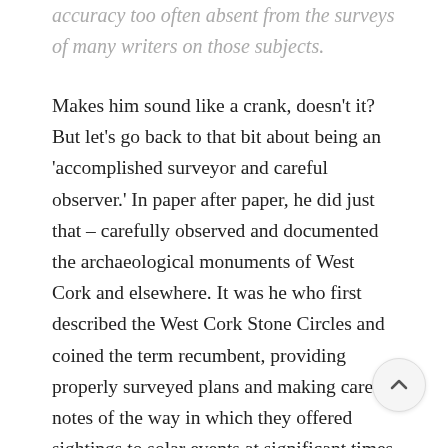accuracy too often absent from the surveys of many writers on those subjects.
Makes him sound like a crank, doesn't it? But let's go back to that bit about being an 'accomplished surveyor and careful observer.' In paper after paper, he did just that – carefully observed and documented the archaeological monuments of West Cork and elsewhere. It was he who first described the West Cork Stone Circles and coined the term recumbent, providing properly surveyed plans and making careful notes of the way in which they offered sightings to solar events at significant times of the year through the axis provided by the line running from the 'entrance' through the 'recumbent.' (For an explantation of